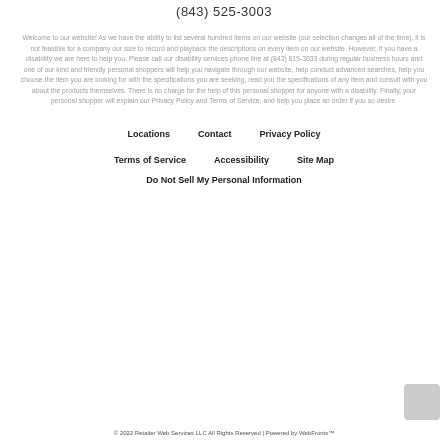(843) 525-3003
Welcome to our website! As we have the ability to list several hundred items on our website (our selection changes all of the time), it is not feasible for a company our size to record and playback the descriptions on every item on our website. However, if you have a disability we are here to help you. Please call our disability services phone line at (843) 815-3033 during regular business hours and one of our kind and friendly personal shoppers will help you navigate through our website, help conduct advanced searches, help you choose the item you are looking for with the specifications you are seeking, read you the specifications of any item and consult with you about the products themselves. There is no charge for the help of this personal shopper for anyone with a disability. Finally, your personal shopper will explain our Privacy Policy and Terms of Service, and help you place an order if you so desire.
Locations
Contact
Privacy Policy
Terms of Service
Accessibility
Site Map
Do Not Sell My Personal Information
© 2022 Retailer Web Services LLC All Rights Reserved | Powered by WebFronts™